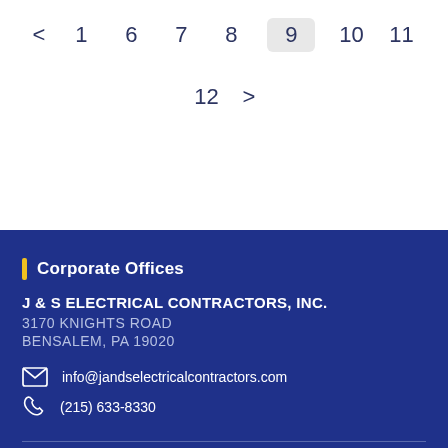< 1 6 7 8 9 10 11 12 >
Corporate Offices
J & S ELECTRICAL CONTRACTORS, INC.
3170 KNIGHTS ROAD
BENSALEM, PA 19020
info@jandselectricalcontractors.com
(215) 633-8330
Regional Offices